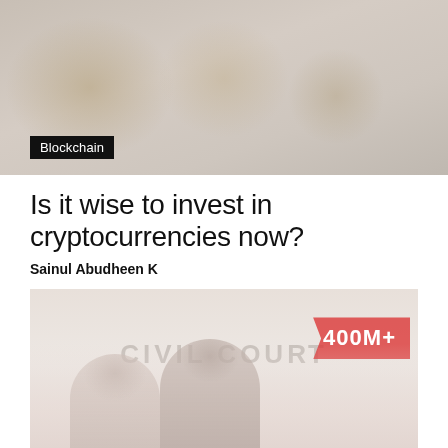[Figure (photo): Blurred photo of cryptocurrency coins (Bitcoin) with golden/metallic tones, with a dark 'Blockchain' label tag in the lower left corner]
Is it wise to invest in cryptocurrencies now?
Sainul Abudheen K
[Figure (photo): Faded image of people in front of a 'Civil Court' sign, with a red banner showing '400M+' in the upper right area]